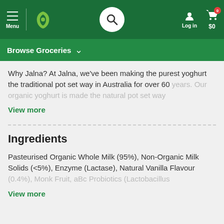Menu | Woolworths | Search | Log in | $0
Browse Groceries
Why Jalna? At Jalna, we've been making the purest yoghurt the traditional pot set way in Australia for over 60 years. Our organic yoghurt is made the natural pot set way
View more
Ingredients
Pasteurised Organic Whole Milk (95%), Non-Organic Milk Solids (<5%), Enzyme (Lactase), Natural Vanilla Flavour (0.4%), Monk Fruit, aBc Probiotics (Lactobacillus
View more